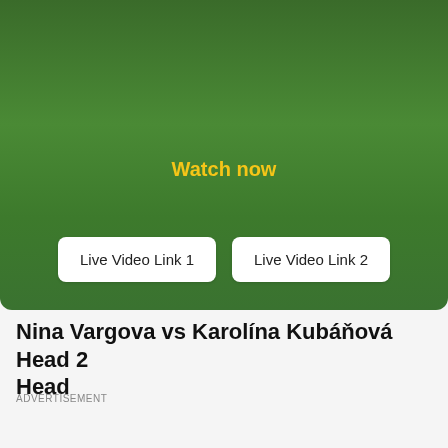[Figure (screenshot): Green gradient video player banner with Watch now text and two white button links: Live Video Link 1 and Live Video Link 2]
Nina Vargova vs Karolína Kubáňová Head 2 Head
ADVERTISEMENT
[Figure (infographic): Score display showing VNI (Slovakia flag) vs KUB (Czech Republic flag) with score 1 - 0]